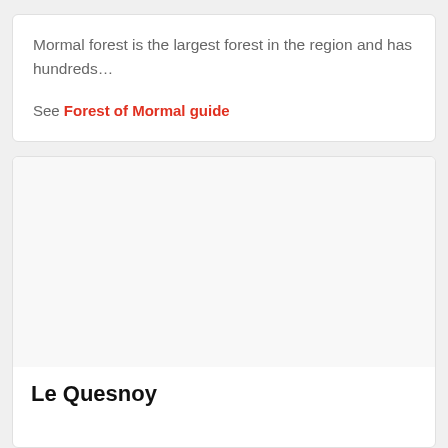Mormal forest is the largest forest in the region and has hundreds…
See Forest of Mormal guide
[Figure (photo): Image placeholder area (white/light grey) inside a card]
Le Quesnoy
...